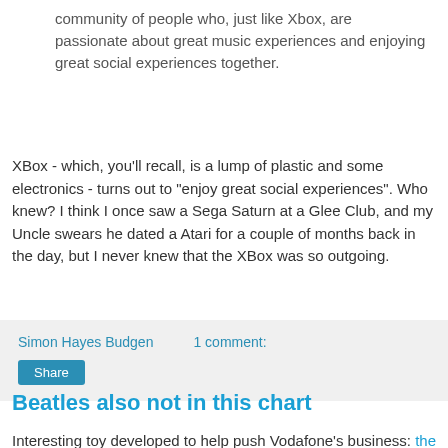community of people who, just like Xbox, are passionate about great music experiences and enjoying great social experiences together.
XBox - which, you'll recall, is a lump of plastic and some electronics - turns out to "enjoy great social experiences". Who knew? I think I once saw a Sega Saturn at a Glee Club, and my Uncle swears he dated a Atari for a couple of months back in the day, but I never knew that the XBox was so outgoing.
Simon Hayes Budgen    1 comment:
Share
Beatles also not in this chart
Interesting toy developed to help push Vodafone's business: the Real-time UK Top 40. It's simple - you tweet what you're listening to with a #realtimetop40 hashtag, they knock up a